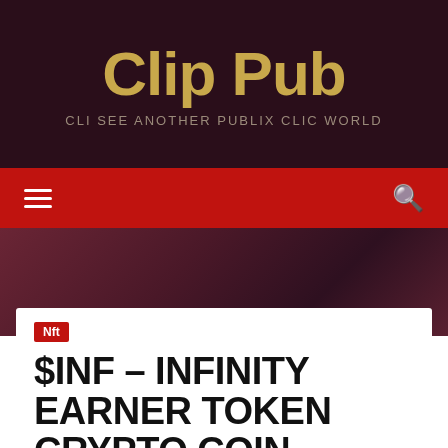Clip Pub
CLI SEE ANOTHER PUBLIX CLIC WORLD
[Figure (screenshot): Navigation bar with hamburger menu icon on left and search icon on right, red background]
[Figure (photo): Dark purple/maroon gradient hero background image]
Nft
$INF – INFINITY EARNER TOKEN CRYPTO COIN